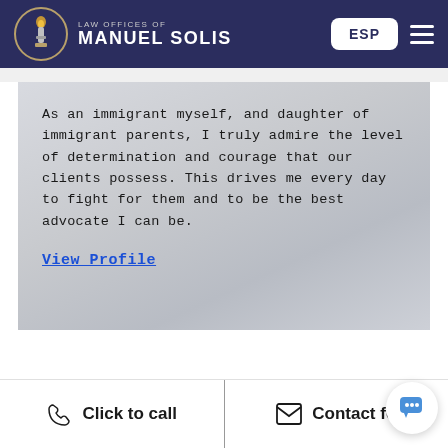LAW OFFICES OF MANUEL SOLIS
As an immigrant myself, and daughter of immigrant parents, I truly admire the level of determination and courage that our clients possess. This drives me every day to fight for them and to be the best advocate I can be.
View Profile
Click to call | Contact fo